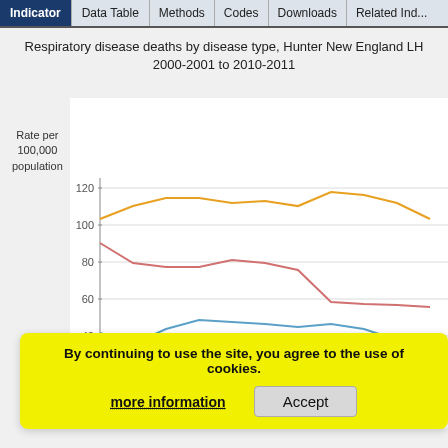Indicator | Data Table | Methods | Codes | Downloads | Related Ind...
Respiratory disease deaths by disease type, Hunter New England LH... 2000-2001 to 2010-2011
[Figure (line-chart): Line chart showing multiple disease series (orange, pink/red, blue, grey, dark red) over time from 2000-2001 to 2010-2011. Orange line highest ~103-119, pink/red line ~55-90, blue line ~40-50, near-zero grey and dark red lines at bottom.]
By continuing to use the site, you agree to the use of cookies.
more information    Accept